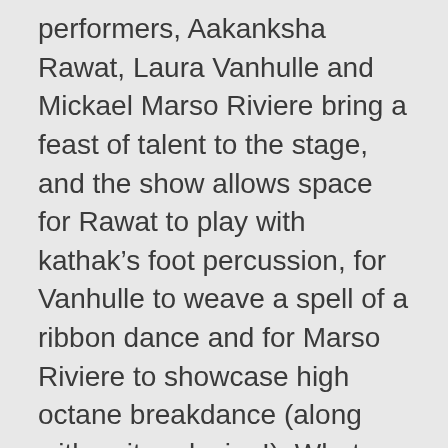performers, Aakanksha Rawat, Laura Vanhulle and Mickael Marso Riviere bring a feast of talent to the stage, and the show allows space for Rawat to play with kathak’s foot percussion, for Vanhulle to weave a spell of a ribbon dance and for Marso Riviere to showcase high octane breakdance (along with guitar playing!). What stood out for Kizzy though, was the humour that threads through the piece right from the first appearance of the performers, looking, in Kizzy’s words, ‘like carpets’. These ‘carpets’ are the three performers wrapped in what I can best